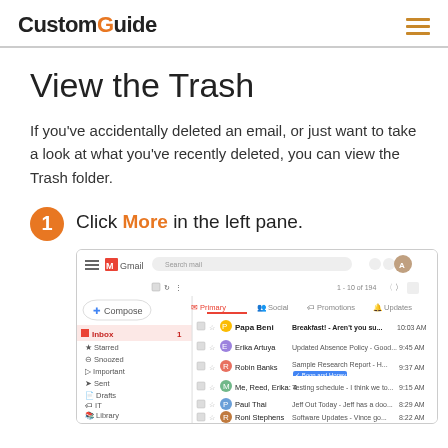CustomGuide
View the Trash
If you've accidentally deleted an email, or just want to take a look at what you've recently deleted, you can view the Trash folder.
Click More in the left pane.
[Figure (screenshot): Gmail inbox screenshot showing the Gmail interface with left sidebar containing Inbox, Starred, Snoozed, Important, Sent, Drafts, IT, Library, Newsletters labels, and the main content area showing email list with senders Papa Beni, Erika Artuya, Robin Banks, Me Reed Erika, Paul Thai, Roni Stephens.]